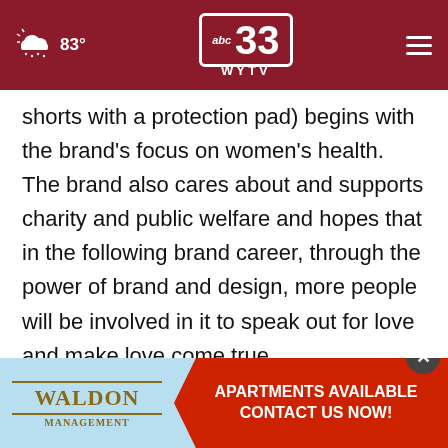83° | abc 33 WYTV
shorts with a protection pad) begins with the brand's focus on women's health. The brand also cares about and supports charity and public welfare and hopes that in the following brand career, through the power of brand and design, more people will be involved in it to speak out for love and make love come true.
About JELENEW
Jelen... brand...
[Figure (screenshot): Waldon Management advertisement banner: light blue background with Waldon Management logo on left and red arrow-shaped banner reading APARTMENTS AVAILABLE CONTACT US NOW! on right. Close button (X) in dark circle at top right of ad.]